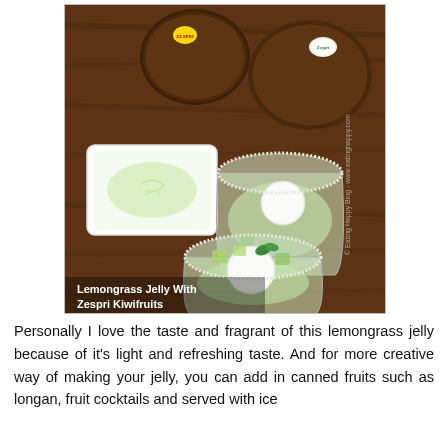[Figure (photo): Food photo showing two glass cups filled with lemongrass jelly, kiwi fruit pieces, and a white ball (lychee or longan), alongside a white rectangular dish with jelly. Two whole kiwi fruits are visible in the background on a wooden surface. A watermark reads: © Eating Happy Blog. Caption overlay reads: Lemongrass Jelly With Zespri Kiwifruits.]
Lemongrass Jelly With Zespri Kiwifruits
Personally I love the taste and fragrant of this lemongrass jelly because of it's light and refreshing taste. And for more creative way of making your jelly, you can add in canned fruits such as longan, fruit cocktails and served with ice